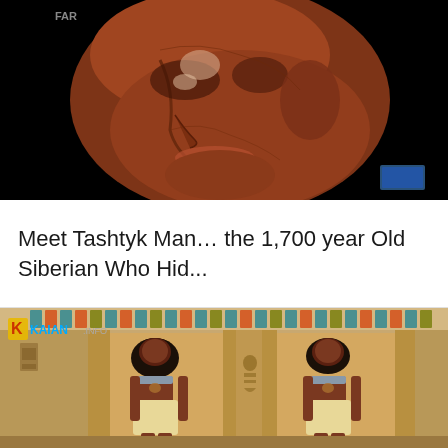[Figure (photo): A 3D-rendered facial reconstruction of Tashtyk Man, showing a brown/terracotta-colored human face in profile against a black background. The face appears to be a digital or clay reconstruction of an ancient Siberian individual, with visible skull details.]
Meet Tashtyk Man… the 1,700 year Old Siberian Who Hid...
[Figure (photo): A photograph of an ancient Egyptian tomb interior showing two large carved stone statues of Egyptian figures standing in niches. The walls are decorated with colorful hieroglyphics and painted patterns including stripes of teal, orange, and gold at the top. A watermark 'Kaian.info' is visible in the top left corner.]